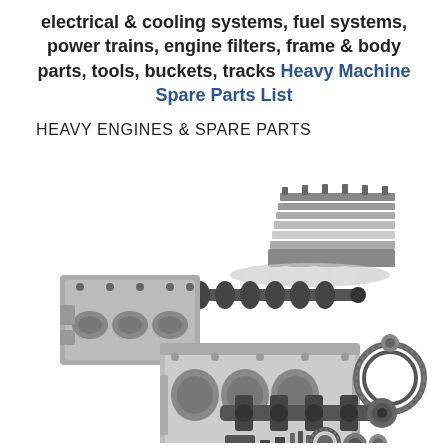electrical & cooling systems, fuel systems, power trains, engine filters, frame & body parts, tools, buckets, tracks Heavy Machine Spare Parts List
HEAVY ENGINES & SPARE PARTS
[Figure (illustration): Exploded view illustration of a heavy engine showing cylinder head, camshaft, engine block with cylinders, timing chain/gears, crankshaft, and miscellaneous small components — all in grayscale.]